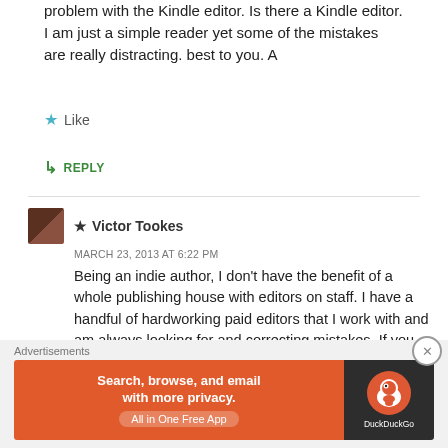problem with the Kindle editor. Is there a Kindle editor. I am just a simple reader yet some of the mistakes are really distracting. best to you. A
★ Like
↳ REPLY
★ Victor Tookes
MARCH 23, 2013 AT 6:22 PM
Being an indie author, I don't have the benefit of a whole publishing house with editors on staff. I have a handful of hardworking paid editors that I work with and am always looking for and correcting mistakes. If you happen to find any, please email them to Victortookes
[Figure (other): DuckDuckGo advertisement banner: Search, browse, and email with more privacy. All in One Free App. DuckDuckGo logo on dark background.]